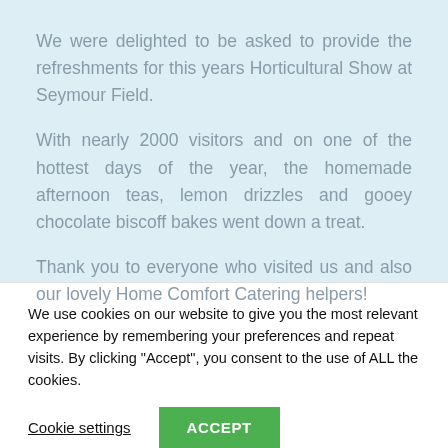We were delighted to be asked to provide the refreshments for this years Horticultural Show at Seymour Field.
With nearly 2000 visitors and on one of the hottest days of the year, the homemade afternoon teas, lemon drizzles and gooey chocolate biscoff bakes went down a treat.
Thank you to everyone who visited us and also our lovely Home Comfort Catering helpers!
We use cookies on our website to give you the most relevant experience by remembering your preferences and repeat visits. By clicking "Accept", you consent to the use of ALL the cookies.